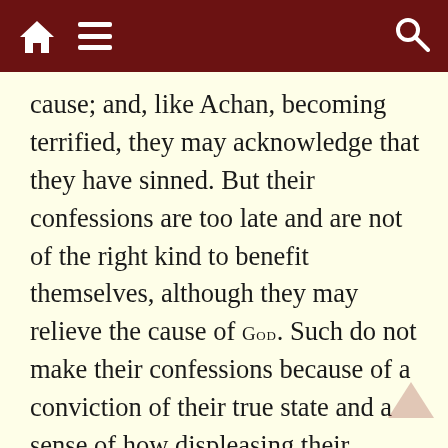[Toolbar with home, menu, and search icons]
cause; and, like Achan, becoming terrified, they may acknowledge that they have sinned. But their confessions are too late and are not of the right kind to benefit themselves, although they may relieve the cause of God. Such do not make their confessions because of a conviction of their true state and a sense of how displeasing their course has been to God. God may give this class another test, another proving, and let them show that they are no better prepared to stand free from all rebellion and sin than before their